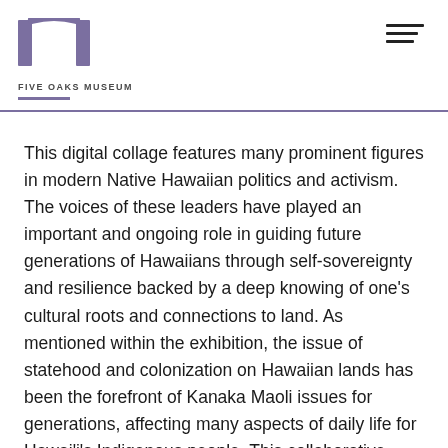FIVE OAKS MUSEUM
This digital collage features many prominent figures in modern Native Hawaiian politics and activism. The voices of these leaders have played an important and ongoing role in guiding future generations of Hawaiians through self-sovereignty and resilience backed by a deep knowing of one's cultural roots and connections to land. As mentioned within the exhibition, the issue of statehood and colonization on Hawaiian lands has been the forefront of Kanaka Maoli issues for generations, affecting many aspects of daily life for Hawai'i's Indigenous people. This collaborative collage touches on these themes while acknowledging their problematic history.